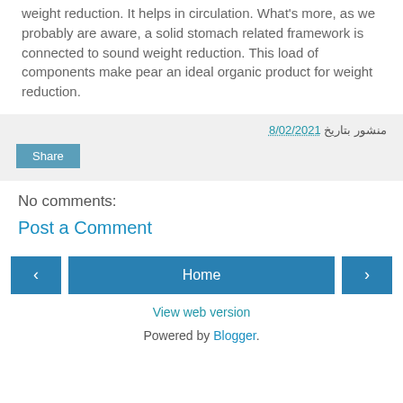weight reduction. It helps in circulation. What's more, as we probably are aware, a solid stomach related framework is connected to sound weight reduction. This load of components make pear an ideal organic product for weight reduction.
منشور بتاريخ 8/02/2021
Share
No comments:
Post a Comment
< Home >
View web version
Powered by Blogger.